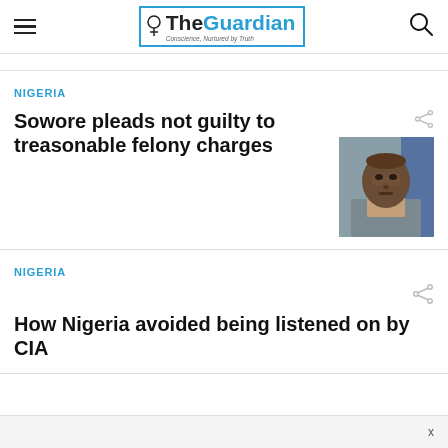The Guardian — Conscience, Nurtured by Truth
NIGERIA
Sowore pleads not guilty to treasonable felony charges
[Figure (photo): Headshot of Omoyele Sowore, a man in a suit]
NIGERIA
How Nigeria avoided being listened on by CIA